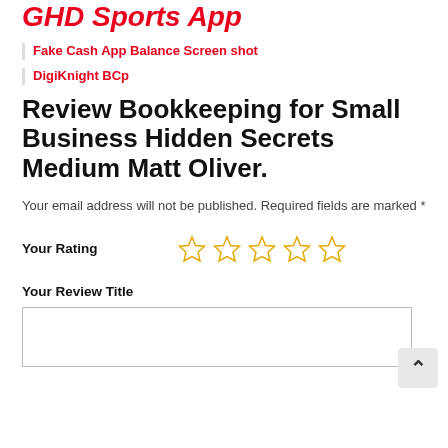GHD Sports App
Fake Cash App Balance Screen shot
DigiKnight BCp
Review Bookkeeping for Small Business Hidden Secrets Medium Matt Oliver.
Your email address will not be published. Required fields are marked *
Your Rating [5 stars]
Your Review Title
[text input box]